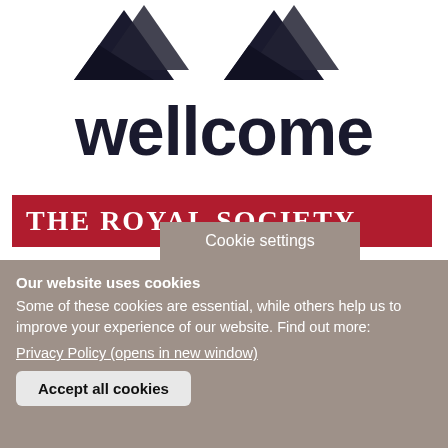[Figure (logo): Wellcome Trust logo — two dark triangular bird/flame shapes above the word 'wellcome' in bold dark font]
[Figure (logo): The Royal Society logo — white serif text 'THE ROYAL SOCIETY' on a red background banner]
Cookie settings
Our website uses cookies
Some of these cookies are essential, while others help us to improve your experience of our website. Find out more: Privacy Policy (opens in new window)
Accept all cookies